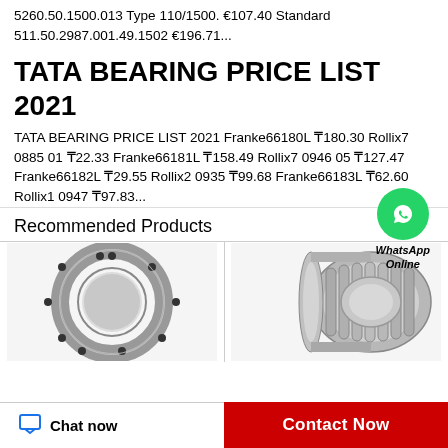5260.50.1500.013 Type 110/1500. €107.40 Standard 511.50.2987.001.49.1502 €196.71...
TATA BEARING PRICE LIST 2021
TATA BEARING PRICE LIST 2021 Franke66180L ₸180.30 Rollix7 0885 01 ₸22.33 Franke66181L ₸158.49 Rollix7 0946 05 ₸127.47 Franke66182L ₸29.55 Rollix2 0935 ₸99.68 Franke66183L ₸62.60 Rollix1 0947 ₸97.83...
Recommended Products
[Figure (photo): Slewing ring bearing with bolt holes, front view, metallic silver color]
[Figure (photo): Cylindrical roller bearing, isometric view showing rollers and outer race, metallic silver color]
Chat now
Contact Now